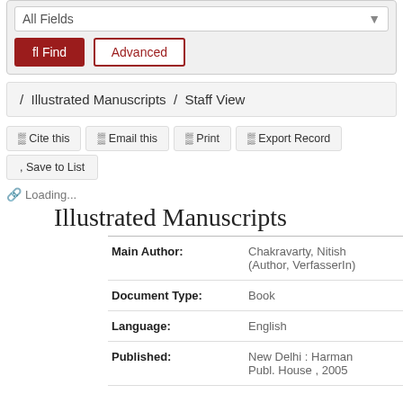All Fields
Find   Advanced
/ Illustrated Manuscripts / Staff View
Cite this   Email this   Print   Export Record
Save to List
Loading...
Illustrated Manuscripts
| Field | Value |
| --- | --- |
| Main Author: | Chakravarty, Nitish (Author, VerfasserIn) |
| Document Type: | Book |
| Language: | English |
| Published: | New Delhi : Harman Publ. House , 2005 |